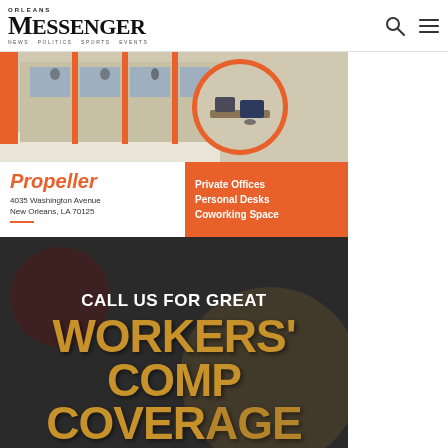Messenger
[Figure (illustration): Propeller coworking space advertisement showing office building photo with orange accents, circular inset photo of desk. Text: Propeller, 4035 Washington Avenue, New Orleans, LA 70125. Private Offices, Personal Desks, Coworking Space]
[Figure (illustration): Workers comp insurance advertisement with dark background. Text: CALL US FOR GREAT WORKERS' COMP COVERAGE in white and gold/orange text]